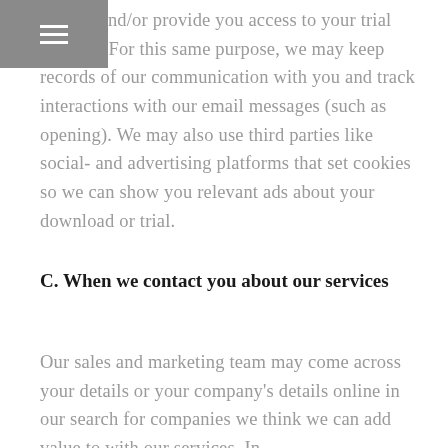≡
request and/or provide you access to your trial account. For this same purpose, we may keep records of our communication with you and track interactions with our email messages (such as opening). We may also use third parties like social- and advertising platforms that set cookies so we can show you relevant ads about your download or trial.
C. When we contact you about our services
Our sales and marketing team may come across your details or your company's details online in our search for companies we think we can add value to with our services. In